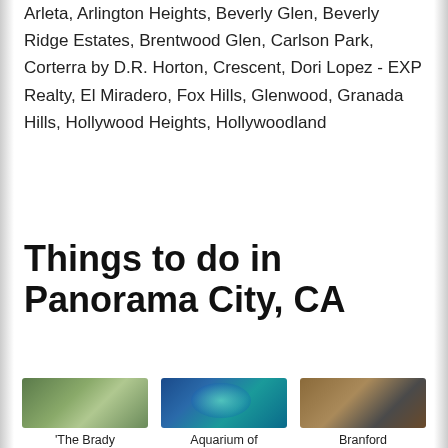Arleta, Arlington Heights, Beverly Glen, Beverly Ridge Estates, Brentwood Glen, Carlson Park, Corterra by D.R. Horton, Crescent, Dori Lopez - EXP Realty, El Miradero, Fox Hills, Glenwood, Granada Hills, Hollywood Heights, Hollywoodland
Things to do in Panorama City, CA
[Figure (photo): Three thumbnail photos in a row: 'The Brady Bunch' house, Aquarium of the Pacific (blue water with jellyfish), and Branford Park (outdoor structure with shade canopy). Each has a text label below.]